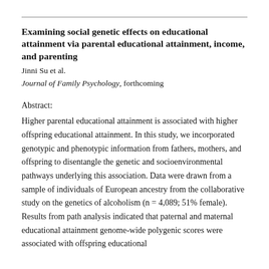Examining social genetic effects on educational attainment via parental educational attainment, income, and parenting
Jinni Su et al.
Journal of Family Psychology, forthcoming
Abstract:
Higher parental educational attainment is associated with higher offspring educational attainment. In this study, we incorporated genotypic and phenotypic information from fathers, mothers, and offspring to disentangle the genetic and socioenvironmental pathways underlying this association. Data were drawn from a sample of individuals of European ancestry from the collaborative study on the genetics of alcoholism (n = 4,089; 51% female). Results from path analysis indicated that paternal and maternal educational attainment genome-wide polygenic scores were associated with offspring educational